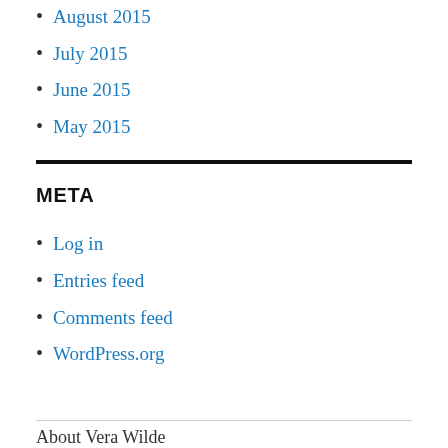August 2015
July 2015
June 2015
May 2015
META
Log in
Entries feed
Comments feed
WordPress.org
About Vera Wilde